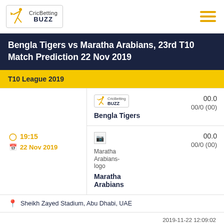CricBetting BUZZ
Bengla Tigers vs Maratha Arabians, 23rd T10 Match Prediction 22 Nov 2019
T10 League 2019
19:15  22 Nov 2019
Bengla Tigers  00.0  00/0 (00)
Maratha Arabians  00.0  00/0 (00)
Sheikh Zayed Stadium, Abu Dhabi, UAE
BGT vs MAS Prediction  2019-11-22 12:09:02  V Shashank